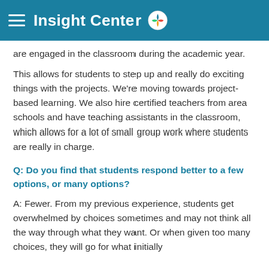Insight Center
are engaged in the classroom during the academic year.
This allows for students to step up and really do exciting things with the projects. We're moving towards project-based learning. We also hire certified teachers from area schools and have teaching assistants in the classroom, which allows for a lot of small group work where students are really in charge.
Q: Do you find that students respond better to a few options, or many options?
A: Fewer. From my previous experience, students get overwhelmed by choices sometimes and may not think all the way through what they want. Or when given too many choices, they will go for what initially